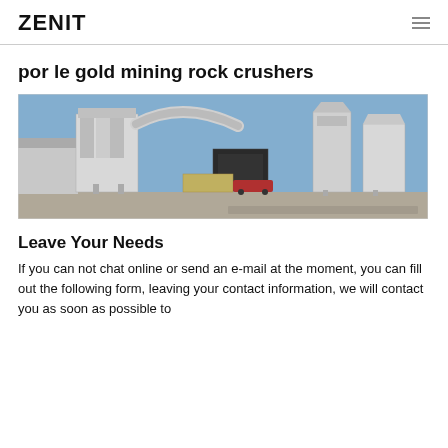ZENIT
por le gold mining rock crushers
[Figure (photo): Industrial mining rock crusher machinery with large white hoppers, ducts, conveyors and equipment on an outdoor concrete pad under a blue sky.]
Leave Your Needs
If you can not chat online or send an e-mail at the moment, you can fill out the following form, leaving your contact information, we will contact you as soon as possible to